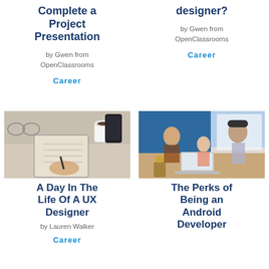Complete a Project Presentation
by Gwen from OpenClassrooms
Career
designer?
by Gwen from OpenClassrooms
Career
[Figure (photo): Hands writing in notebook at a desk with glasses, coffee cup, and phone]
A Day In The Life Of A UX Designer
by Lauren Walker
Career
[Figure (photo): Two people collaborating at a desk with a laptop in an office with blue wall]
The Perks of Being an Android Developer